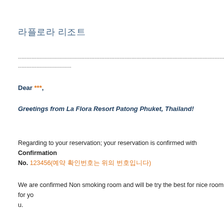라플로라 리조트
------------------------------------------------------------------------------------------------------------------------------------------------
--------------------------------
Dear ***,
Greetings from La Flora Resort Patong Phuket, Thailand!
Regarding to your reservation; your reservation is confirmed with Confirmation No. 123456(예약 확인번호는 위의 번호입니다)
We are confirmed Non smoking room and will be try the best for nice room for you.